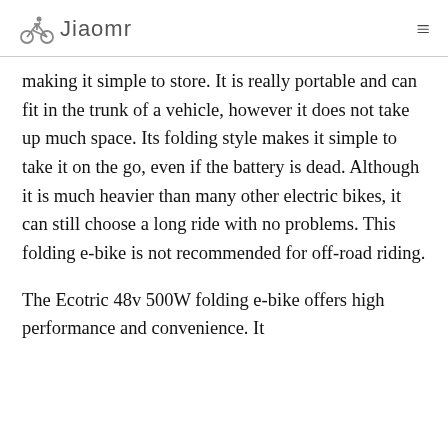Jiaomr
making it simple to store. It is really portable and can fit in the trunk of a vehicle, however it does not take up much space. Its folding style makes it simple to take it on the go, even if the battery is dead. Although it is much heavier than many other electric bikes, it can still choose a long ride with no problems. This folding e-bike is not recommended for off-road riding.
The Ecotric 48v 500W folding e-bike offers high performance and convenience. It